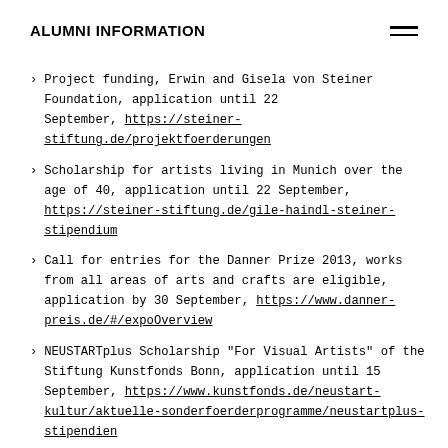ALUMNI INFORMATION
Project funding, Erwin and Gisela von Steiner Foundation, application until 22 September, https://steiner-stiftung.de/projektfoerderungen
Scholarship for artists living in Munich over the age of 40, application until 22 September, https://steiner-stiftung.de/gile-haindl-steiner-stipendium
Call for entries for the Danner Prize 2013, works from all areas of arts and crafts are eligible, application by 30 September, https://www.danner-preis.de/#/expoOverview
NEUSTARTplus Scholarship "For Visual Artists" of the Stiftung Kunstfonds Bonn, application until 15 September, https://www.kunstfonds.de/neustart-kultur/aktuelle-sonderfoerderprogramme/neustartplus-stipendien
NEUSTARTplus Plattformen der bildenden Kunst